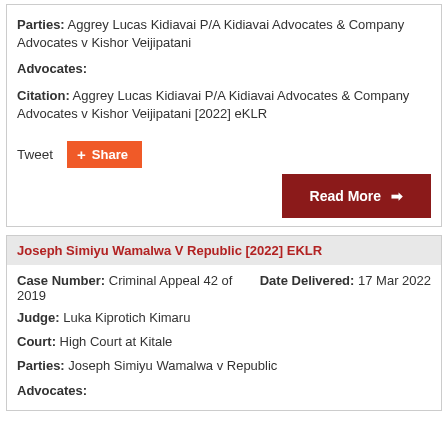Parties: Aggrey Lucas Kidiavai P/A Kidiavai Advocates & Company Advocates v Kishor Veijipatani
Advocates:
Citation: Aggrey Lucas Kidiavai P/A Kidiavai Advocates & Company Advocates v Kishor Veijipatani [2022] eKLR
Tweet
Share
Read More →
Joseph Simiyu Wamalwa V Republic [2022] EKLR
Case Number: Criminal Appeal 42 of 2019
Date Delivered: 17 Mar 2022
Judge: Luka Kiprotich Kimaru
Court: High Court at Kitale
Parties: Joseph Simiyu Wamalwa v Republic
Advocates: